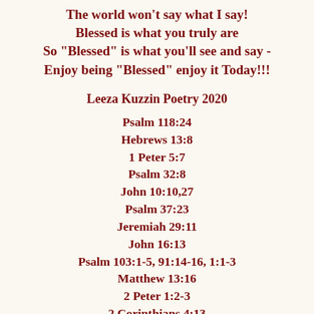The world won't say what I say!
Blessed is what you truly are
So "Blessed" is what you'll see and say -
Enjoy being "Blessed" enjoy it Today!!!
Leeza Kuzzin Poetry 2020
Psalm 118:24
Hebrews 13:8
1 Peter 5:7
Psalm 32:8
John 10:10,27
Psalm 37:23
Jeremiah 29:11
John 16:13
Psalm 103:1-5, 91:14-16, 1:1-3
Matthew 13:16
2 Peter 1:2-3
2 Corinthians 4:13